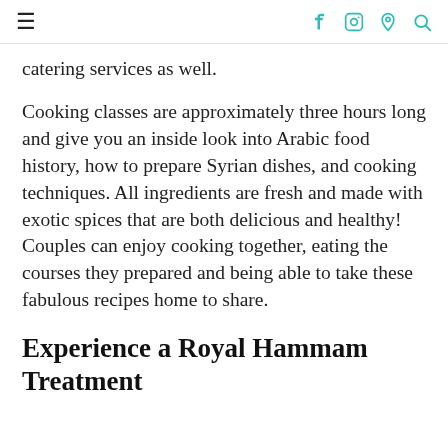≡  f  ⊙  ℗  🔍
catering services as well.
Cooking classes are approximately three hours long and give you an inside look into Arabic food history, how to prepare Syrian dishes, and cooking techniques. All ingredients are fresh and made with exotic spices that are both delicious and healthy! Couples can enjoy cooking together, eating the courses they prepared and being able to take these fabulous recipes home to share.
Experience a Royal Hammam Treatment